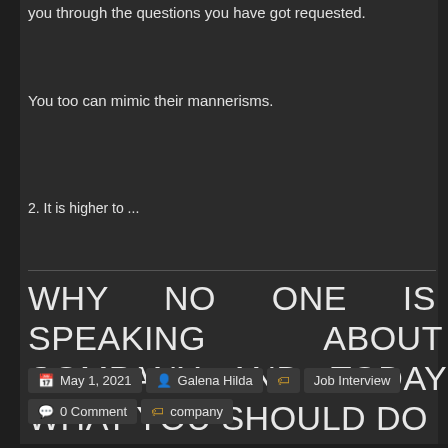you through the questions you have got requested.
You too can mimic their mannerisms.
2. It is higher to ...
WHY NO ONE IS SPEAKING ABOUT COMPANY AND TODAY WHAT YOU SHOULD DO
May 1, 2021  Galena Hilda  Job Interview  0 Comment  company